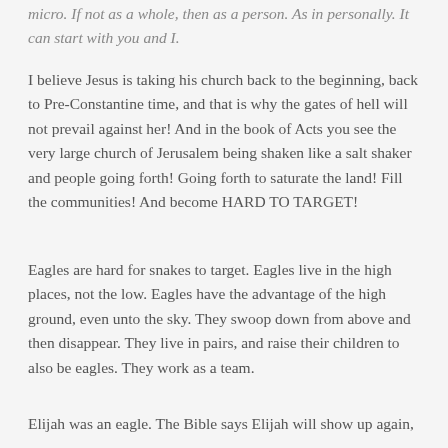micro. If not as a whole, then as a person. As in personally. It can start with you and I.
I believe Jesus is taking his church back to the beginning, back to Pre-Constantine time, and that is why the gates of hell will not prevail against her! And in the book of Acts you see the very large church of Jerusalem being shaken like a salt shaker and people going forth! Going forth to saturate the land! Fill the communities! And become HARD TO TARGET!
Eagles are hard for snakes to target. Eagles live in the high places, not the low. Eagles have the advantage of the high ground, even unto the sky. They swoop down from above and then disappear. They live in pairs, and raise their children to also be eagles. They work as a team.
Elijah was an eagle. The Bible says Elijah will show up again,